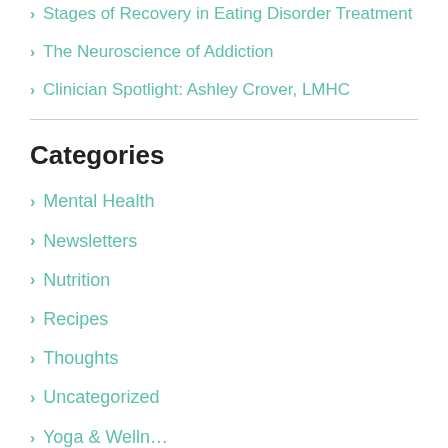Stages of Recovery in Eating Disorder Treatment
The Neuroscience of Addiction
Clinician Spotlight: Ashley Crover, LMHC
Categories
Mental Health
Newsletters
Nutrition
Recipes
Thoughts
Uncategorized
Yoga & Welln…